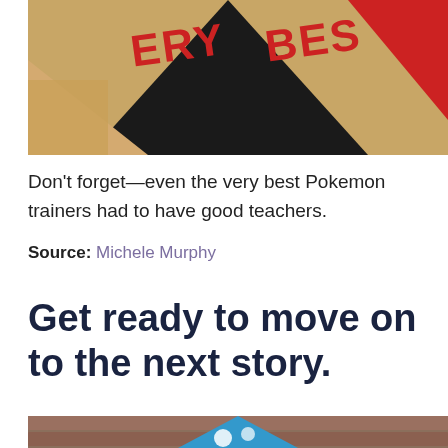[Figure (photo): Close-up photo showing Pokemon-themed fabric/patch with red text reading 'ERY BES' on dark background, with a red triangular shape on the right side, on a light textured fabric.]
Don't forget—even the very best Pokemon trainers had to have good teachers.
Source: Michele Murphy
Get ready to move on to the next story.
[Figure (photo): Bottom of page photo showing a blue triangular shape with white circular objects, against a brick wall background.]